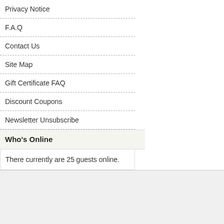Privacy Notice
F.A.Q
Contact Us
Site Map
Gift Certificate FAQ
Discount Coupons
Newsletter Unsubscribe
Who's Online
There currently are 25 guests online.
[Figure (logo): VeriSign Secured badge with checkmark]
[Figure (logo): Secure shield badge with green checkmark]
[Figure (logo): Free Shipping orange burst badge with airplane]
[Figure (logo): 100% Guarantee gold badge (partially visible)]
Copyright © 2022 www.c